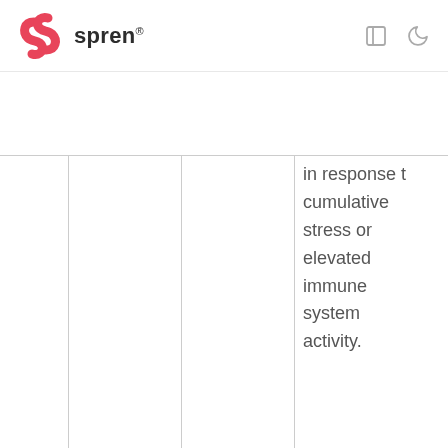spren
|  |  |  | in response t cumulative stress or elevated immune system activity. |
Design Examples
The most common display of the ANS Balance is using a color-indicated scale, although the ANS Balance display is completely customizable to match the branding and